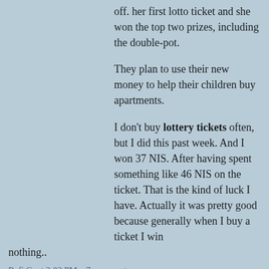off. her first lotto ticket and she won the top two prizes, including the double-pot.

They plan to use their new money to help their children buy apartments.

I don't buy lottery tickets often, but I did this past week. And I won 37 NIS. After having spent something like 46 NIS on the ticket. That is the kind of luck I have. Actually it was pretty good because generally when I buy a ticket I win nothing..
Rafi G. at 3:03 PM    7 comments:
Share
Hamas Hunger Strike
Is the hunger strike that Hamas prisoners in Israeli jails